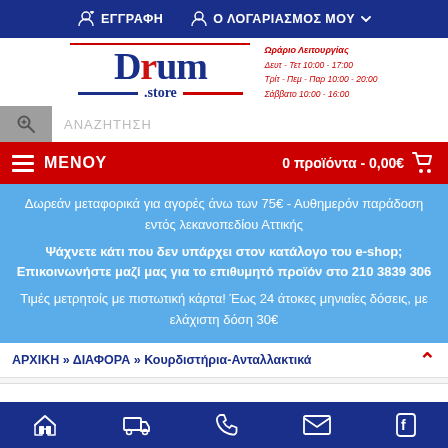ΕΓΓΡΑΦΗ  Ο ΛΟΓΑΡΙΑΣΜΟΣ ΜΟΥ
[Figure (logo): Drum Store logo with operating hours: Δευτ - Τετ 10:00 - 17:00, Τρίτ - Πεμ - Παρ 10:00 - 20:00, Σάββατο 10:00 - 16:00]
ΑΝΑΖΗΤΗΣΗ
ΜΕΝΟΥ  0 προϊόντα - 0,00€
Δωρεάν μεταφορικά για αγορές άνω των 75€ - Αυθημερόν παράδοση εντός λεκανοπεδίου Αττικής
Ψάχνετε κάτι που δεν υπάρχει στον κατάλογο του e-shop; Επικοινωνήστε μαζί μας για το επιθυμητό προϊόν στο 210 3839 306
Τιμές μετρητοίς με πιστωτική κάρτα! Έως 24 άτοκες μηνιαίες δόσεις, με ελάχιστη δόση 30€
ΑΡΧΙΚΗ » ΔΙΑΦΟΡΑ » Κουρδιστήρια-Ανταλλακτικά
Home  Delivery  Phone  Email  Facebook